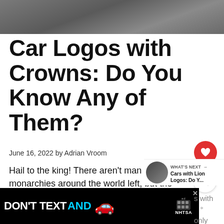[Figure (photo): Dark gray textured surface, partial hero image at top of page]
Car Logos with Crowns: Do You Know Any of Them?
June 16, 2022 by Adrian Vroom
Hail to the king! There aren't man monarchies around the world left, but the
[Figure (screenshot): WHAT'S NEXT -> Cars with Lion Logos: Do Y...]
[Figure (infographic): DON'T TEXT AND [car emoji] ad NHTSA advertisement banner]